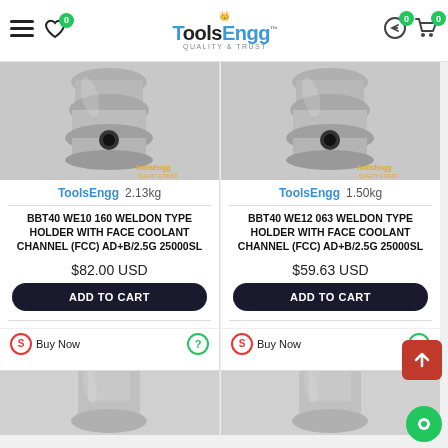ToolsEngg — Quality & Trust
[Figure (screenshot): Product card: BBT40 WE10 160 tool holder photo — silver metallic CNC tool holder with ToolsEngg watermark]
ToolsEngg  2.13kg
BBT40 WE10 160 WELDON TYPE HOLDER WITH FACE COOLANT CHANNEL (FCC) AD+B/2.5G 25000SL
$82.00 USD
ADD TO CART
Buy Now
[Figure (screenshot): Product card: BBT40 WE12 063 tool holder photo — silver metallic CNC tool holder with ToolsEngg watermark]
ToolsEngg  1.50kg
BBT40 WE12 063 WELDON TYPE HOLDER WITH FACE COOLANT CHANNEL (FCC) AD+B/2.5G 25000SL
$59.63 USD
ADD TO CART
Buy Now
[Figure (photo): Partial view of another tool holder product card (bottom row, left)]
[Figure (photo): Partial view of another tool holder product card (bottom row, right)]